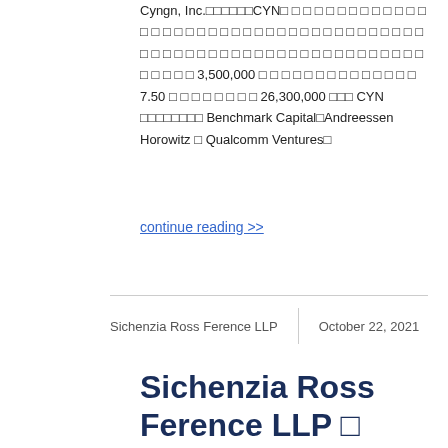Cyngn, Inc.〓〓〓〓〓〓CYN〓 〓 〓 〓 〓 〓 〓 〓 〓 〓 〓 〓 〓 〓 〓 〓 〓 〓 〓 〓 〓 〓 〓 〓 〓 〓 〓 〓 〓 〓 〓 〓 〓 〓 〓 〓 〓 〓 〓 〓 〓 〓 〓 〓 〓 〓 〓 〓 〓 〓 〓 〓 〓 〓 〓 〓 〓 〓 〓 〓 〓 〓 〓 〓 〓 〓 〓 〓 3,500,000 〓 〓 〓 〓 〓 〓 〓 〓 〓 〓 〓 〓 〓 〓 7.50 〓 〓 〓 〓 〓 〓 〓 〓 26,300,000 〓〓〓 CYN 〓〓〓〓〓〓〓〓 Benchmark Capital〓Andreessen Horowitz 〓 Qualcomm Ventures〓
continue reading >>
Sichenzia Ross Ference LLP | October 22, 2021
Sichenzia Ross Ference LLP 〓